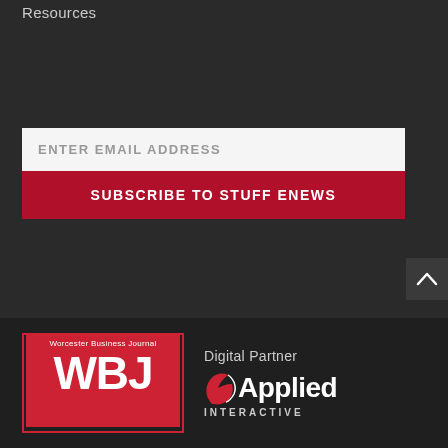Resources
ENTER EMAIL ADDRESS
SUBSCRIBE TO STUFF ENEWS
[Figure (logo): Worcester Business Journal WBJ logo with red border and red background]
Digital Partner
[Figure (logo): Applied Interactive logo in white text]